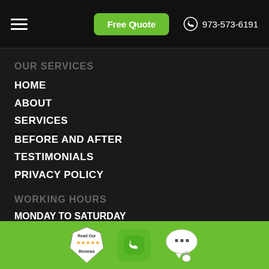Free Quote  973-573-6191
OUR SERVICES
HOME
ABOUT
SERVICES
BEFORE AND AFTER
TESTIMONIALS
PRIVACY POLICY
WORKING HOURS
MONDAY TO SATURDAY
From (6:00 AM To 11:00 PM)
CONTACT DETAILS
Read Our Reviews | Phone | Chat